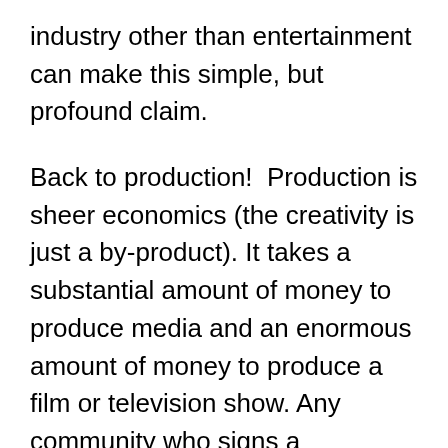industry other than entertainment can make this simple, but profound claim.
Back to production!  Production is sheer economics (the creativity is just a by-product). It takes a substantial amount of money to produce media and an enormous amount of money to produce a film or television show. Any community who signs a production company to their venue will gain the economic benefits of production.
Listing all the jobs on a feature film or television show isn't the point here; this is the